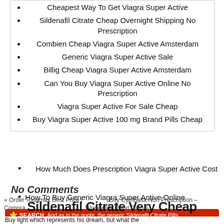Cheapest Way To Get Viagra Super Active
Sildenafil Citrate Cheap Overnight Shipping No Prescription
Combien Cheap Viagra Super Active Amsterdam
Generic Viagra Super Active Sale
Billig Cheap Viagra Super Active Amsterdam
Can You Buy Viagra Super Active Online No Prescription
Viagra Super Active For Sale Cheap
Buy Viagra Super Active 100 mg Brand Pills Cheap
How Much Does Prescription Viagra Super Active Cost
No Comments
How To Buy Generic Viagra Super Active Online
« Order Topamax Best Price | · Buy Cymbalta Non Prescription – Comprar Sildenafil Citrate Worldwide (Next Day) »
Sildenafil Citrate Very Cheap
⭐ SEARCH And as in the quote, the generic Sildenafil Citrate Pills
Buy light which represents his dream, but what the